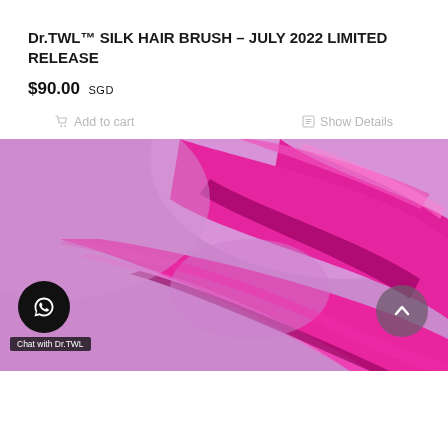Dr.TWL™ SILK HAIR BRUSH – JULY 2022 LIMITED RELEASE
$90.00 SGD
Add to cart
Show Details
[Figure (photo): Close-up product/cosmetic image on a pink/lavender background, showing a shiny magenta pink silk-like swipe or ribbon curl shape. WhatsApp chat button (black circle) bottom-left with 'Chat with Dr.TWL' label. Scroll-to-top button (grey circle) bottom-right.]